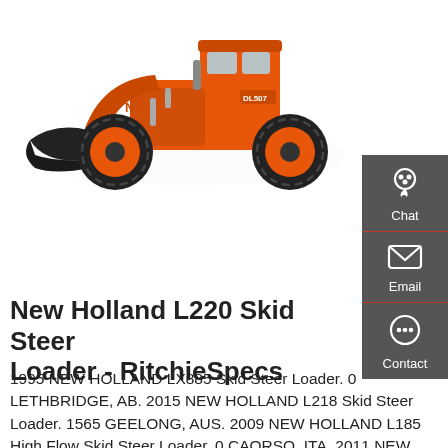[Figure (photo): Orange wheel loader / skid steer loader machine (Doosan DL507 or similar), facing left, with large bucket attachment, on white background.]
New Holland L220 Skid Steer Loader - RitchieSpecs
1995 NEW HOLLAND LX885 Skid Steer Loader. 0 LETHBRIDGE, AB. 2015 NEW HOLLAND L218 Skid Steer Loader. 1565 GEELONG, AUS. 2009 NEW HOLLAND L185 High Flow Skid Steer Loader. 0 CAORSO, ITA. 2011 NEW HOLLAND L225 2 Snd Skid Steer Loader. 2157 COLUMBUS,